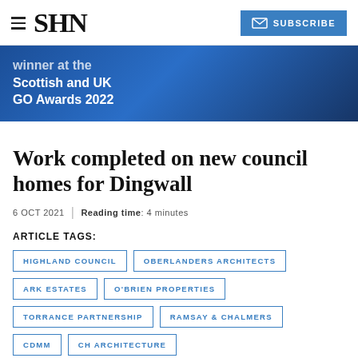SHN | SUBSCRIBE
[Figure (illustration): Blue gradient banner with text: 'Winner at the Scottish and UK GO Awards 2022']
Work completed on new council homes for Dingwall
6 OCT 2021 | Reading time: 4 minutes
ARTICLE TAGS:
HIGHLAND COUNCIL
OBERLANDERS ARCHITECTS
ARK ESTATES
O'BRIEN PROPERTIES
TORRANCE PARTNERSHIP
RAMSAY & CHALMERS
CDMM
CH ARCHITECTURE